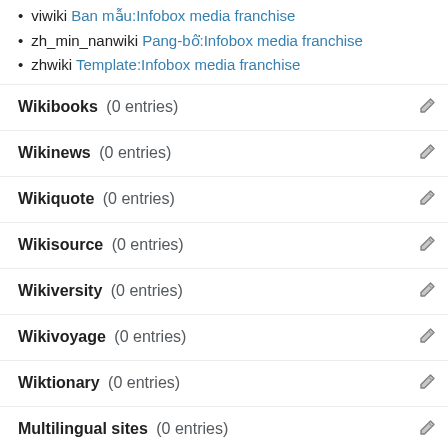viwiki Ban mẫu:Infobox media franchise
zh_min_nanwiki Pang-bô͘:Infobox media franchise
zhwiki Template:Infobox media franchise
Wikibooks (0 entries)
Wikinews (0 entries)
Wikiquote (0 entries)
Wikisource (0 entries)
Wikiversity (0 entries)
Wikivoyage (0 entries)
Wiktionary (0 entries)
Multilingual sites (0 entries)